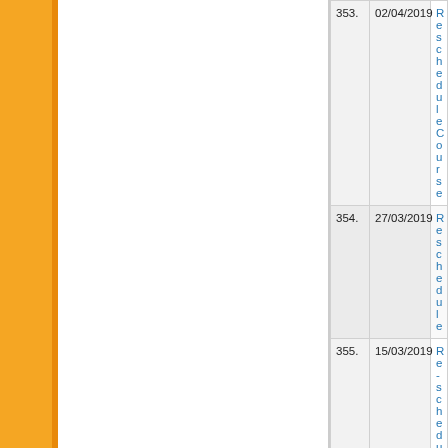| No. | Date | Title |
| --- | --- | --- |
| 353. | 02/04/2019 | Reschedule Course |
| 354. | 27/03/2019 | Reschedule |
| 355. | 15/03/2019 | Re-schedule Course-2019 |
| 356. | 30/01/2019 | Reschedule |
| 357. | 02/01/2019 | Notice for Cl... 2018 |
| 358. | 31/12/2018 | Rates of Exa... Fee Structur... |
| 359. | 11/12/2018 | Invitation for |
| 360. | 10/12/2018 | ADDITION C... General) (2 Y... (December-2... |
| 361. | 07/12/2018 | ADDITION C... General) (2 Y... (December-2... |
| 362. | 19/11/2018 | List of Practi... |
| 363. | 29/10/2018 | B.A.-B.Sc-B.... Only |